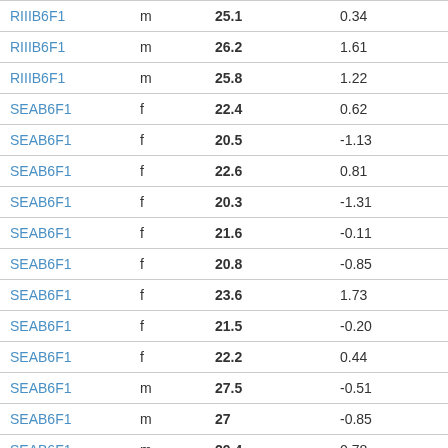| RIIIB6F1 | m | 25.1 | 0.34 | 53234 |
| RIIIB6F1 | m | 26.2 | 1.61 | 51031 |
| RIIIB6F1 | m | 25.8 | 1.22 | 53296 |
| SEAB6F1 | f | 22.4 | 0.62 | 51085 |
| SEAB6F1 | f | 20.5 | -1.13 | 50944 |
| SEAB6F1 | f | 22.6 | 0.81 | 50943 |
| SEAB6F1 | f | 20.3 | -1.31 | 50952 |
| SEAB6F1 | f | 21.6 | -0.11 | 50941 |
| SEAB6F1 | f | 20.8 | -0.85 | 51077 |
| SEAB6F1 | f | 23.6 | 1.73 | 50940 |
| SEAB6F1 | f | 21.5 | -0.20 | 50950 |
| SEAB6F1 | f | 22.2 | 0.44 | 50951 |
| SEAB6F1 | m | 27.5 | -0.51 | 51073 |
| SEAB6F1 | m | 27 | -0.85 | 50949 |
| SEAB6F1 | m | 29.4 | 0.78 | 50945 |
| SEAB6F1 | m | 27.2 | -0.65 | 51075 |